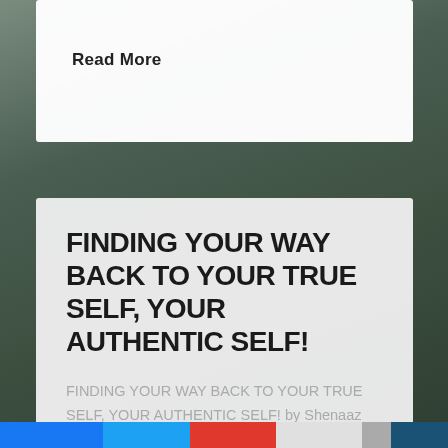Read More
FINDING YOUR WAY BACK TO YOUR TRUE SELF, YOUR AUTHENTIC SELF!
FINDING YOUR WAY BACK TO YOUR TRUE SELF, YOUR AUTHENTIC SELF! by Shenaaz Moos As a counsellor I see many ...
Read More
[Figure (photo): Background photo of children outdoors in a field with yellow flowers, blurred/dark tones]